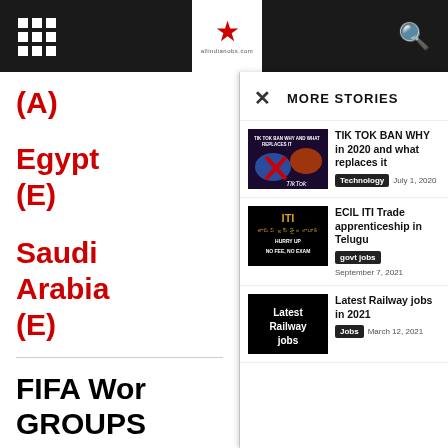Header bar with grid menu, star logo, and search icon
(A)
Egypt (E)
Saudi Arabia (E)
FIFA Wor GROUPS PLAY
MORE STORIES
TIK TOK BAN WHY in 2020 and what replaces it | Technology | July 1, 2020
ECIL ITI Trade apprenticeship in Telugu | govt jobs | September 7, 2021
Latest Railway jobs in 2021 | Jobs | March 12, 2021